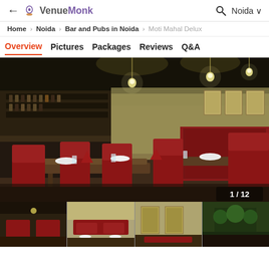← VenueMonk   🔍 Noida ∨
Home > Noida > Bar and Pubs in Noida > Moti Mahal Delux
Overview   Pictures   Packages   Reviews   Q&A
[Figure (photo): Interior of Moti Mahal Delux restaurant showing red chairs, dining tables set with white plates and glasses, pendant lights, bar area on the left, and decorative wall panels. Image counter shows 1/12.]
[Figure (photo): Thumbnail 1: Dark restaurant interior view]
[Figure (photo): Thumbnail 2: Restaurant seating area]
[Figure (photo): Thumbnail 3: Wall art and decor]
[Figure (photo): Thumbnail 4: Green decorated area]